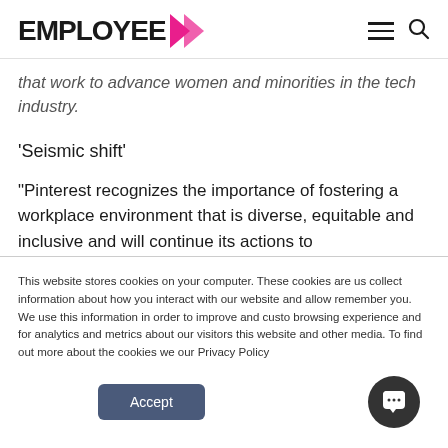EMPLOYEE >
that work to advance women and minorities in the tech industry.
‘Seismic shift’
“Pinterest recognizes the importance of fostering a workplace environment that is diverse, equitable and inclusive and will continue its actions to
This website stores cookies on your computer. These cookies are used to collect information about how you interact with our website and allow us to remember you. We use this information in order to improve and customize your browsing experience and for analytics and metrics about our visitors both on this website and other media. To find out more about the cookies we use, see our Privacy Policy
Accept